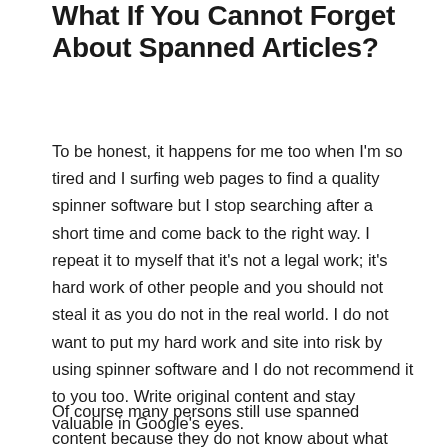What If You Cannot Forget About Spanned Articles?
To be honest, it happens for me too when I'm so tired and I surfing web pages to find a quality spinner software but I stop searching after a short time and come back to the right way. I repeat it to myself that it's not a legal work; it's hard work of other people and you should not steal it as you do not in the real world. I do not want to put my hard work and site into risk by using spinner software and I do not recommend it to you too. Write original content and stay valuable in Google's eyes.
Of course many persons still use spanned content because they do not know about what I've told you